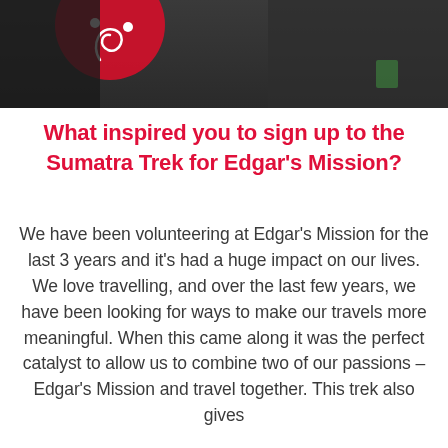[Figure (photo): Two people outdoors, one wearing a dark jacket with a red circular logo, the other with dark hair. The image is cropped showing the top portion.]
What inspired you to sign up to the Sumatra Trek for Edgar's Mission?
We have been volunteering at Edgar's Mission for the last 3 years and it's had a huge impact on our lives. We love travelling, and over the last few years, we have been looking for ways to make our travels more meaningful. When this came along it was the perfect catalyst to allow us to combine two of our passions – Edgar's Mission and travel together. This trek also gives